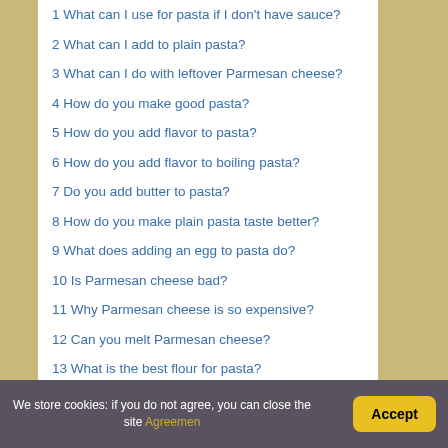1 What can I use for pasta if I don't have sauce?
2 What can I add to plain pasta?
3 What can I do with leftover Parmesan cheese?
4 How do you make good pasta?
5 How do you add flavor to pasta?
6 How do you add flavor to boiling pasta?
7 Do you add butter to pasta?
8 How do you make plain pasta taste better?
9 What does adding an egg to pasta do?
10 Is Parmesan cheese bad?
11 Why Parmesan cheese is so expensive?
12 Can you melt Parmesan cheese?
13 What is the best flour for pasta?
14 What is the most popular pasta in the world?
15 Can you cook pasta with milk?
We store cookies: if you do not agree, you can close the site Agreemen